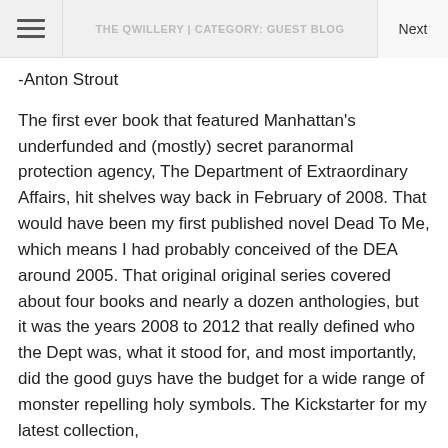THE QWILLERY | CATEGORY: GUEST BLOG
-Anton Strout
The first ever book that featured Manhattan's underfunded and (mostly) secret paranormal protection agency, The Department of Extraordinary Affairs, hit shelves way back in February of 2008. That would have been my first published novel Dead To Me, which means I had probably conceived of the DEA around 2005. That original original series covered about four books and nearly a dozen anthologies, but it was the years 2008 to 2012 that really defined who the Dept was, what it stood for, and most importantly, did the good guys have the budget for a wide range of monster repelling holy symbols. The Kickstarter for my latest collection,
Claw & Order, brings together all the stories related to those paranormal events in the Manhattan of my Simon Canderous and Spellmason Chronicles series. And hopefully with enough funding, we'll be seeing brand new stories set in their shared